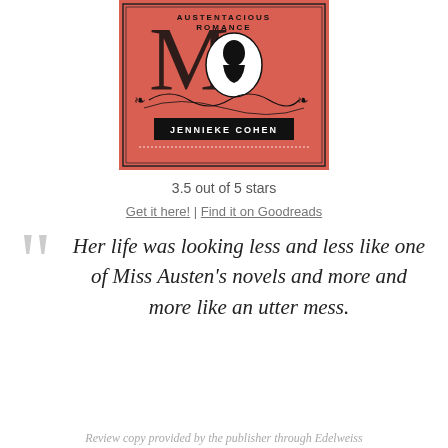[Figure (illustration): Book cover with coral/salmon red background, decorative Victorian-style illustration with silhouette cameo of a woman in profile, ornate black scrollwork and flourishes. Text reads 'AUSTENTACIOUS ROMANCE' at top and 'JENNIEKE COHEN' in a banner across the center.]
3.5 out of 5 stars
Get it here! | Find it on Goodreads
Her life was looking less and less like one of Miss Austen's novels and more and more like an utter mess.
Review copy provided by the publisher through Edelweiss